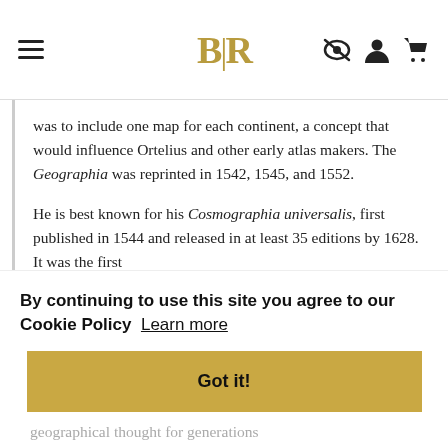BLR (logo with hamburger menu and icons)
was to include one map for each continent, a concept that would influence Ortelius and other early atlas makers. The Geographia was reprinted in 1542, 1545, and 1552.
He is best known for his Cosmographia universalis, first published in 1544 and released in at least 35 editions by 1628. It was the first G...
By continuing to use this site you agree to our Cookie Policy  Learn more
Got it!
geographical thought for generations